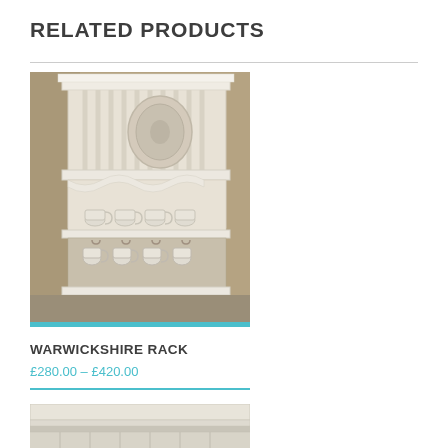RELATED PRODUCTS
[Figure (photo): White wooden wall-mounted plate rack (Warwickshire Rack) with plates, teacups and saucers displayed on it, photographed against a warm beige background.]
WARWICKSHIRE RACK
£280.00 – £420.00
[Figure (photo): Partial view of another white wooden shelf or rack product, cropped at bottom of page.]